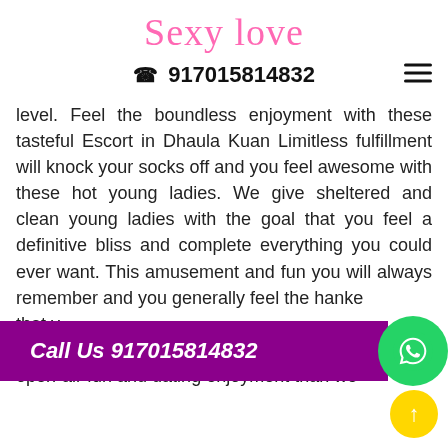[Figure (logo): Sexy Love handwritten-style pink cursive logo]
☎ 917015814832
level. Feel the boundless enjoyment with these tasteful Escort in Dhaula Kuan Limitless fulfillment will knock your socks off and you feel awesome with these hot young ladies. We give sheltered and clean young ladies with the goal that you feel a definitive bliss and complete everything you could ever want. This amusement and fun you will always remember and you generally feel the hanke... that y... ladies or need any dance club young ladies or open-air fun and dating enjoyment than we
Call Us 917015814832